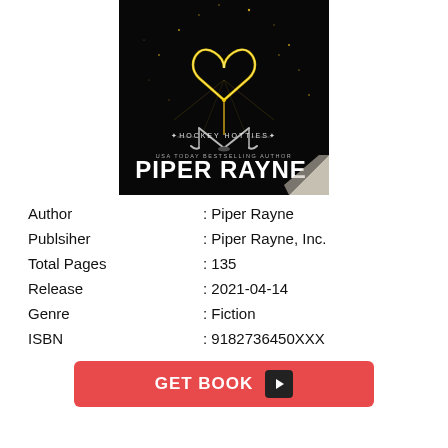[Figure (illustration): Book cover for a Hockey Hotties series novel by Piper Rayne (USA Today Bestselling Author). Dark background with a glowing gold sparkler heart shape at top, hockey sticks crossed below, and large white text 'PIPER RAYNE' at bottom. Corner of cover is peeled up.]
| Author | : Piper Rayne |
| Publsiher | : Piper Rayne, Inc. |
| Total Pages | : 135 |
| Release | : 2021-04-14 |
| Genre | : Fiction |
| ISBN | : 9182736450XXX |
GET BOOK ▶